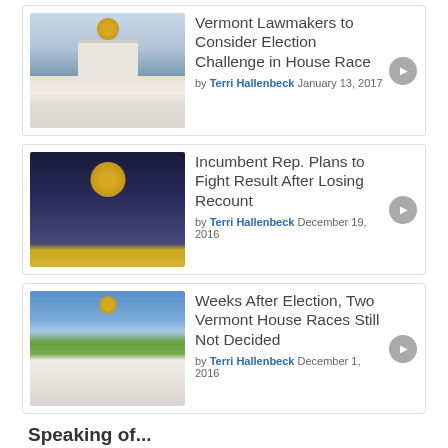[Figure (photo): Vermont State Capitol building exterior in winter]
Vermont Lawmakers to Consider Election Challenge in House Race
by Terri Hallenbeck January 13, 2017
[Figure (photo): Vermont State Capitol dome at night]
Incumbent Rep. Plans to Fight Result After Losing Recount
by Terri Hallenbeck December 19, 2016
[Figure (photo): Vermont State Capitol building exterior in summer]
Weeks After Election, Two Vermont House Races Still Not Decided
by Terri Hallenbeck December 1, 2016
Speaking of...
[Figure (photo): Person photo - appears to be a woman with blonde hair]
Recount Confirms Gulick's...